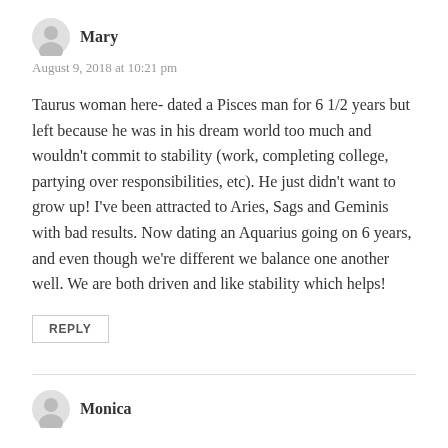Mary
August 9, 2018 at 10:21 pm
Taurus woman here- dated a Pisces man for 6 1/2 years but left because he was in his dream world too much and wouldn't commit to stability (work, completing college, partying over responsibilities, etc). He just didn't want to grow up! I've been attracted to Aries, Sags and Geminis with bad results. Now dating an Aquarius going on 6 years, and even though we're different we balance one another well. We are both driven and like stability which helps!
REPLY
Monica